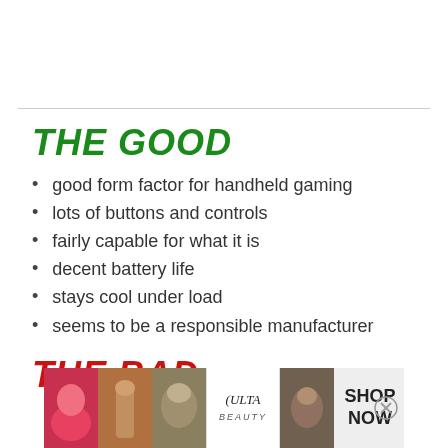THE GOOD
good form factor for handheld gaming
lots of buttons and controls
fairly capable for what it is
decent battery life
stays cool under load
seems to be a responsible manufacturer
THE BAD
[Figure (other): Advertisement banner for ULTA Beauty showing cosmetic product images with 'SHOP NOW' call to action]